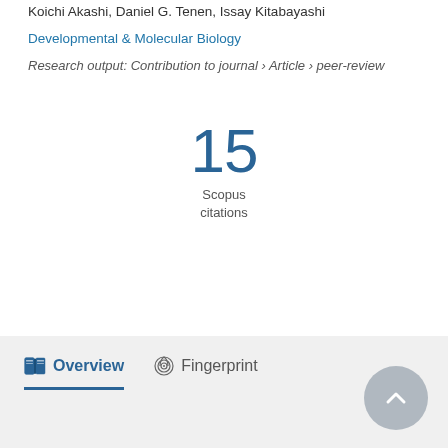Koichi Akashi, Daniel G. Tenen, Issay Kitabayashi
Developmental & Molecular Biology
Research output: Contribution to journal › Article › peer-review
15 Scopus citations
Overview | Fingerprint